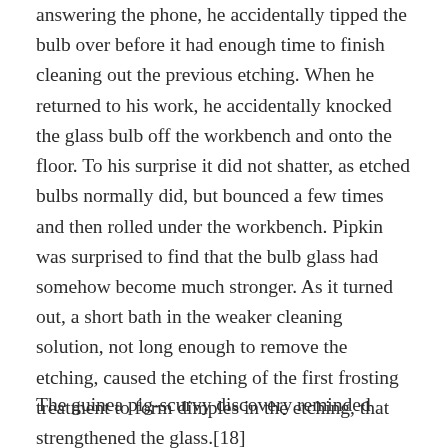answering the phone, he accidentally tipped the bulb over before it had enough time to finish cleaning out the previous etching. When he returned to his work, he accidentally knocked the glass bulb off the workbench and onto the floor. To his surprise it did not shatter, as etched bulbs normally did, but bounced a few times and then rolled under the workbench. Pipkin was surprised to find that the bulb glass had somehow become much stronger. As it turned out, a short bath in the weaker cleaning solution, not long enough to remove the etching, caused the etching of the first frosting treatment to form dimples in the etching, that strengthened the glass.[18]
The guinea pig-scurvy discovery reminded